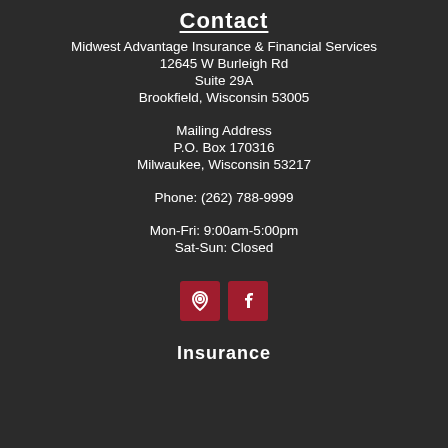Contact
Midwest Advantage Insurance & Financial Services
12645 W Burleigh Rd
Suite 29A
Brookfield, Wisconsin 53005
Mailing Address
P.O. Box 170316
Milwaukee, Wisconsin 53217
Phone: (262) 788-9999
Mon-Fri: 9:00am-5:00pm
Sat-Sun: Closed
[Figure (infographic): Two red square icon buttons: a map/location pin icon and a Facebook icon]
Insurance